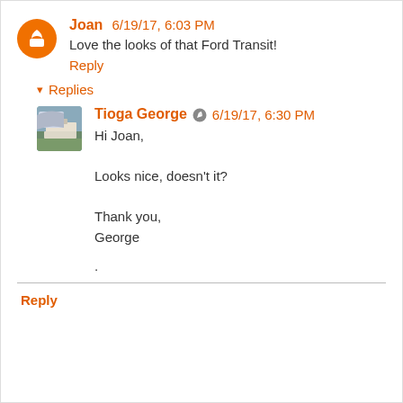Joan 6/19/17, 6:03 PM
Love the looks of that Ford Transit!
Reply
▾ Replies
Tioga George 6/19/17, 6:30 PM
Hi Joan,

Looks nice, doesn't it?

Thank you,
George
.
Reply